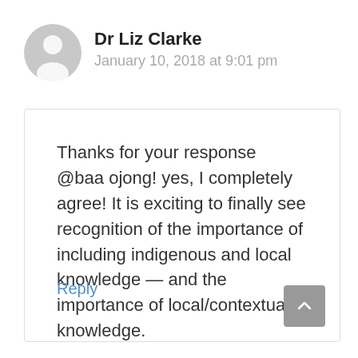[Figure (illustration): Gray circular avatar icon with silhouette of a person]
Dr Liz Clarke
January 10, 2018 at 9:01 pm
Thanks for your response @baa ojong! yes, I completely agree! It is exciting to finally see recognition of the importance of including indigenous and local knowledge — and the importance of local/contextual knowledge.
Reply